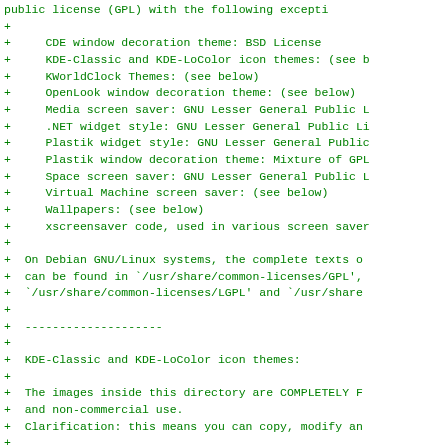public license (GPL) with the following excepti
+
+     CDE window decoration theme: BSD License
+     KDE-Classic and KDE-LoColor icon themes: (see b
+     KWorldClock Themes: (see below)
+     OpenLook window decoration theme: (see below)
+     Media screen saver: GNU Lesser General Public L
+     .NET widget style: GNU Lesser General Public Li
+     Plastik widget style: GNU Lesser General Public
+     Plastik window decoration theme: Mixture of GPL
+     Space screen saver: GNU Lesser General Public L
+     Virtual Machine screen saver: (see below)
+     Wallpapers: (see below)
+     xscreensaver code, used in various screen saver
+
+  On Debian GNU/Linux systems, the complete texts o
+  can be found in `/usr/share/common-licenses/GPL',
+  `/usr/share/common-licenses/LGPL' and `/usr/share
+
+  --------------------
+
+  KDE-Classic and KDE-LoColor icon themes:
+
+  The images inside this directory are COMPLETELY F
+  and non-commercial use.
+  Clarification: this means you can copy, modify an
+
+  --------------------
+
+  KWorldClock themes:
+